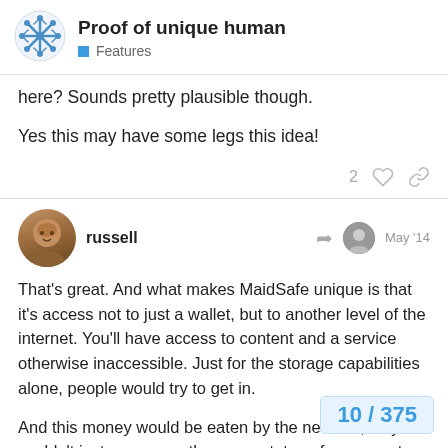Proof of unique human — Features
here? Sounds pretty plausible though.

Yes this may have some legs this idea!
russell  May '14

That's great. And what makes MaidSafe unique is that it's access not to just a wallet, but to another level of the internet. You'll have access to content and a service otherwise inaccessible. Just for the storage capabilities alone, people would try to get in.

And this money would be eaten by the network, so you couldn't just, say, open the account, transfer money to another account so that you could start of chain of accounts have to deplete your own Safecoin resource
10 / 375